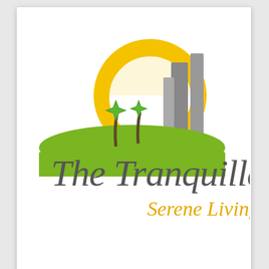[Figure (logo): The Tranquilla Serene Living logo: featuring a yellow circle (sun) behind a green hill with two palm trees with green star-shaped tops, and gray city building silhouettes. Text reads 'The Tranquilla' in dark gray cursive script and 'Serene Living' in golden cursive script.]
by Mon GE Designs
7